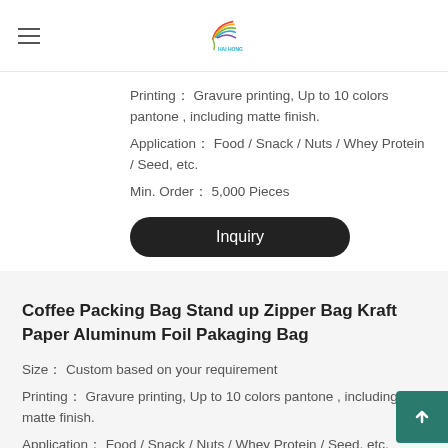Hai Hong [logo]
Printing： Gravure printing, Up to 10 colors pantone , including matte finish.
Application： Food / Snack / Nuts / Whey Protein / Seed, etc.
Min. Order： 5,000 Pieces
Inquiry
Coffee Packing Bag Stand up Zipper Bag Kraft Paper Aluminum Foil Pakaging Bag
Size： Custom based on your requirement
Printing： Gravure printing, Up to 10 colors pantone , including matte finish.
Application： Food / Snack / Nuts / Whey Protein / Seed, etc.
Min. Order： 5,000 Pieces